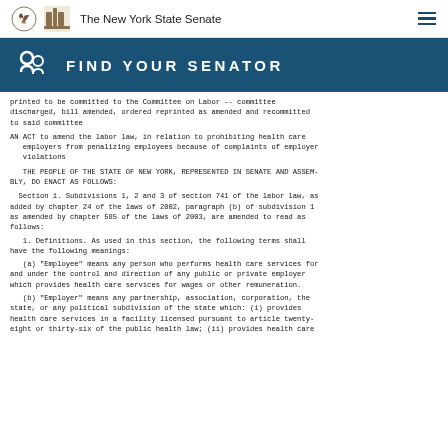The New York State Senate
[Figure (infographic): FIND YOUR SENATOR banner with icon]
printed to be committed to the Committee on Labor -- committee discharged, bill amended, ordered reprinted as amended and recommitted to said committee
AN ACT to amend the labor law, in relation to prohibiting health care employers from penalizing employees because of complaints of employer violations
THE PEOPLE OF THE STATE OF NEW YORK, REPRESENTED IN SENATE AND ASSEMBLY, DO ENACT AS FOLLOWS:
Section 1. Subdivisions 1, 2 and 3 of section 741 of the labor law, as added by chapter 24 of the laws of 2002, paragraph (b) of subdivision 1 as amended by chapter 585 of the laws of 2003, are amended to read as follows:
1. Definitions. As used in this section, the following terms shall have the following meanings:
(a)  "Employee" means any person who performs health care services for and under the control and direction of any public or private employer which provides health care services for wages or other remuneration.
(b)  "Employer" means any partnership, association, corporation, the state, or any political subdivision of the state which: (i) provides health care services in a facility licensed pursuant to article twenty-eight or thirty-six of the public health law; (ii) provides health care